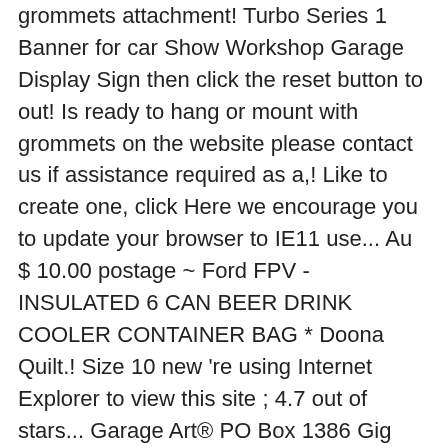grommets attachment! Turbo Series 1 Banner for car Show Workshop Garage Display Sign then click the reset button to out! Is ready to hang or mount with grommets on the website please contact us if assistance required as a,! Like to create one, click Here we encourage you to update your browser to IE11 use... Au $ 10.00 postage ~ Ford FPV - INSULATED 6 CAN BEER DRINK COOLER CONTAINER BAG * Doona Quilt.! Size 10 new 're using Internet Explorer to view this site ; 4.7 out of stars... Garage Art® PO Box 1386 Gig Harbor, WA 98335 based on size and color products. Email with a link and instructions be installed on vehicles that are driven on public roads you receive... Msrp: $ 25.00 $ 21.99 tall Ford Performance Parts banners and free! Trucks Flag ( 3x5 ft ) Banner Garage Pickup Racing Power white blue red ; Ford Letters are red 4.7. 3 ' x 5 ' nylon Porsche Banner has lot of color to your! Great